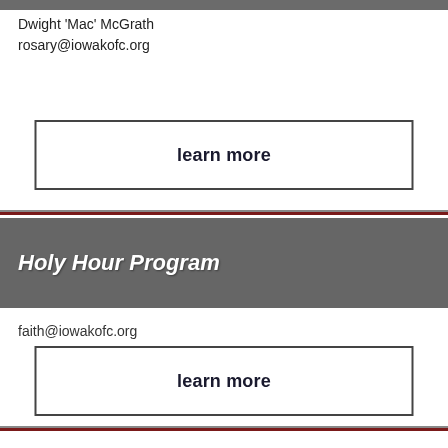Dwight 'Mac' McGrath
rosary@iowakofc.org
learn more
Holy Hour Program
faith@iowakofc.org
learn more
Spiritual Reflection
faith@iowakofc.org
learn more